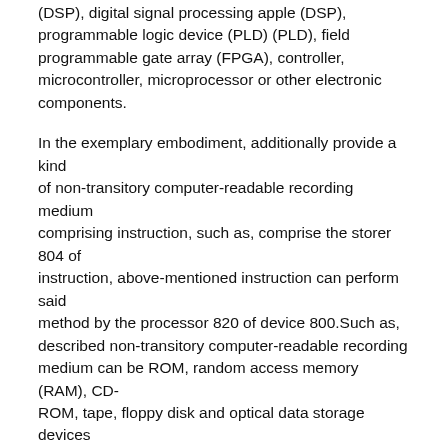(DSP), digital signal processing apple (DSP), programmable logic device (PLD) (PLD), field programmable gate array (FPGA), controller, microcontroller, microprocessor or other electronic components.
In the exemplary embodiment, additionally provide a kind of non-transitory computer-readable recording medium comprising instruction, such as, comprise the storer 804 of instruction, above-mentioned instruction can perform said method by the processor 820 of device 800.Such as, described non-transitory computer-readable recording medium can be ROM, random access memory (RAM), CD-ROM, tape, floppy disk and optical data storage devices etc.
A kind of non-transitory computer-readable recording medium, when the instruction in described storage medium is performed by the processor of mobile terminal, make mobile terminal can perform a kind of deletion reminding method of application program, described method comprises:
Receive the instruction of deleting application program;